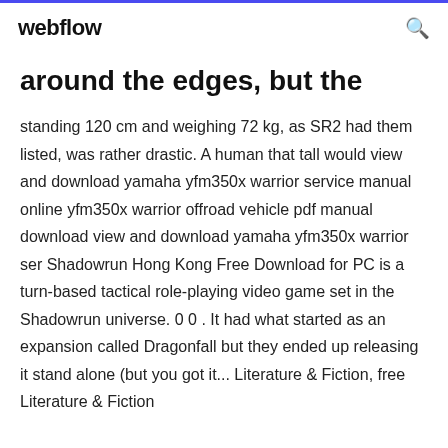webflow
around the edges, but the
standing 120 cm and weighing 72 kg, as SR2 had them listed, was rather drastic. A human that tall would view and download yamaha yfm350x warrior service manual online yfm350x warrior offroad vehicle pdf manual download view and download yamaha yfm350x warrior ser Shadowrun Hong Kong Free Download for PC is a turn-based tactical role-playing video game set in the Shadowrun universe. 0 0 . It had what started as an expansion called Dragonfall but they ended up releasing it stand alone (but you got it... Literature & Fiction, free Literature & Fiction